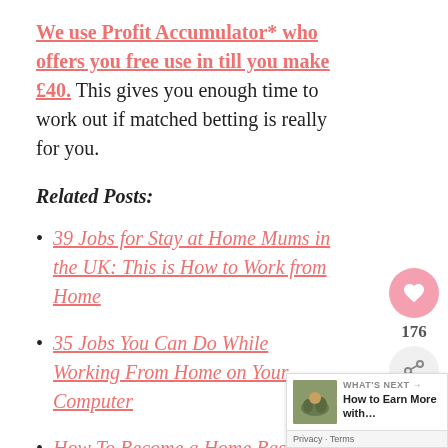We use Profit Accumulator* who offers you free use in till you make £40. This gives you enough time to work out if matched betting is really for you.
Related Posts:
39 Jobs for Stay at Home Mums in the UK: This is How to Work from Home
35 Jobs You Can Do While Working From Home on Your Computer
How To Become a Home Based Virtual Assistant